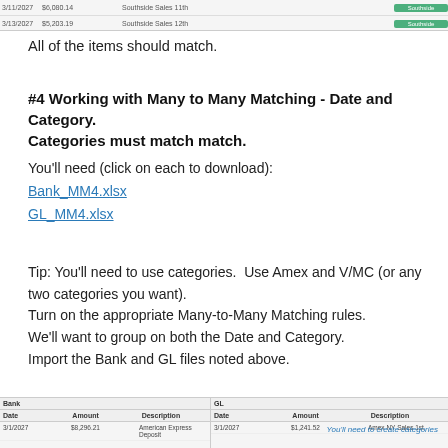[Figure (screenshot): Top portion of a spreadsheet showing rows with dates around 3/11/2027 and 3/13/2027, amounts like $6,080.14 and $5,203.19, descriptions Southside Sales 11th and 12th, with green Southside tags.]
All of the items should match.
#4 Working with Many to Many Matching - Date and Category. Categories must match match.
You'll need (click on each to download):
Bank_MM4.xlsx
GL_MM4.xlsx
Tip: You'll need to use categories.  Use Amex and V/MC (or any two categories you want).
Turn on the appropriate Many-to-Many Matching rules.
We'll want to group on both the Date and Category.
Import the Bank and GL files noted above.
[Figure (screenshot): Bottom portion showing a spreadsheet split into Bank (left) and GL (right) sections with column headers Date, Amount, Description and a note 'You'll need to create categories' in blue text on the right side.]